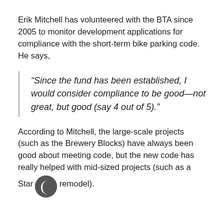Erik Mitchell has volunteered with the BTA since 2005 to monitor development applications for compliance with the short-term bike parking code. He says,
“Since the fund has been established, I would consider compliance to be good—not great, but good (say 4 out of 5).”
According to Mitchell, the large-scale projects (such as the Brewery Blocks) have always been good about meeting code, but the new code has really helped with mid-sized projects (such as a Star remodel).